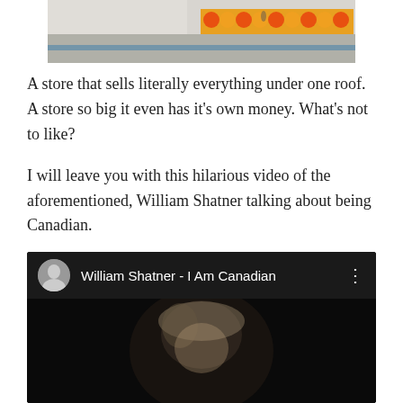[Figure (photo): Partial top image showing a large store exterior with orange pumpkins/decorations visible along the storefront, with a wide road in front. Only the bottom portion of the image is visible.]
A store that sells literally everything under one roof. A store so big it even has it’s own money. What’s not to like?
I will leave you with this hilarious video of the aforementioned, William Shatner talking about being Canadian.
[Figure (screenshot): YouTube video embed showing 'William Shatner - I Am Canadian' with a dark thumbnail of a person's face and a play button in the center. The video header shows a circular avatar icon and the video title, with a three-dot menu icon on the right.]